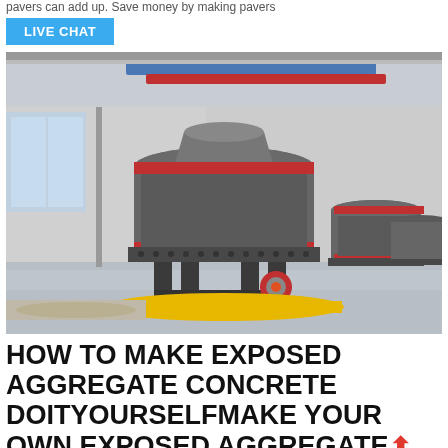pavers can add up. Save money by making pavers
LIVE CHAT
[Figure (photo): Industrial grinding mill machine in a large factory/warehouse setting. A large cylindrical grey metal mill with red accent rings sits on a black metal frame surrounded by aggregate material on the floor. Additional similar machines visible in background. Industrial building with steel structure and blue/red painted beams overhead.]
HOW TO MAKE EXPOSED AGGREGATE CONCRETE DOITYOURSELFMAKE YOUR OWN EXPOSED AGGREGATE CONCRETE PAVERS